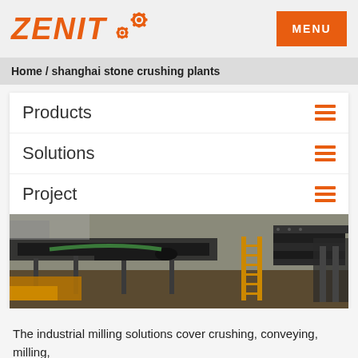ZENIT [logo with gears] | MENU
Home / shanghai stone crushing plants
Products
Solutions
Project
[Figure (photo): Industrial stone crushing plant machinery with conveyor belts, steel frames, and yellow ladders at a mining/quarry facility]
The industrial milling solutions cover crushing, conveying, milling, screening, loading, collection, dewatering, and mining and